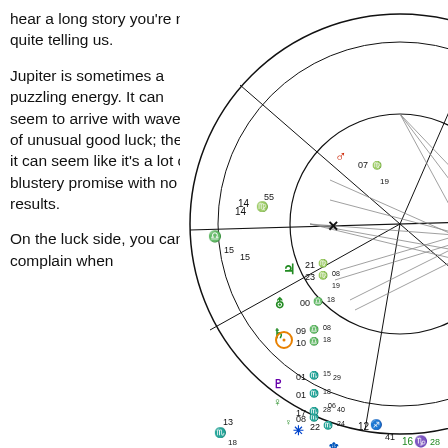hear a long story you're not quite telling us.
Jupiter is sometimes a puzzling energy. It can seem to arrive with waves of unusual good luck; then, it can seem like it's a lot of blustery promise with no results.
On the luck side, you can't complain when
[Figure (other): Astrological natal chart wheel showing planetary positions with degree markings. Visible symbols include Mars (red), Jupiter (green), Uranus (green H), Saturn (green), Sun (orange circle with dot), Pluto (purple), Venus (green), Neptune (blue), and various zodiac degree annotations including 15♎53, 14♍55, 07♍, 19, 21♍, 23♍08, 19, 00♎18, 09♎08, 10♎18, 15, 01♏15, 01♏29, 18, 08♏, 06, 17♏28, 22♏40, 24, 12♐41, 16♑28, 13♏18. The chart has inner and outer circles with aspect lines crossing the center.]